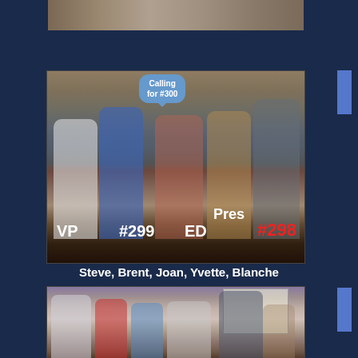[Figure (photo): Partial photo strip at top showing people at an event]
[Figure (photo): Group photo of five people standing on a stage/platform. Labels in photo: speech bubble 'Calling for #300', overlaid text 'VP', '#299', 'ED', 'Pres', '#298' identifying people left to right.]
Steve, Brent, Joan, Yvette, Blanche
[Figure (photo): Group photo of several people at event, appearing to celebrate or interact]